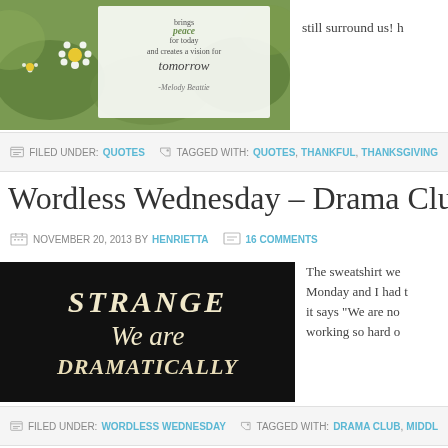[Figure (photo): Daisy flowers in a green field with a white overlay box containing a quote about gratitude bringing peace for today and creating a vision for tomorrow by Melody Beattie]
still surround us!
FILED UNDER: QUOTES   TAGGED WITH: QUOTES, THANKFUL, THANKSGIVING
Wordless Wednesday – Drama Club C
NOVEMBER 20, 2013 BY HENRIETTA   16 COMMENTS
[Figure (photo): Black background with cream/ivory text reading STRANGE We are DRAMATICALLY]
The sweatshirt we Monday and I had it says "We are no working so hard o
FILED UNDER: WORDLESS WEDNESDAY   TAGGED WITH: DRAMA CLUB, MIDDL